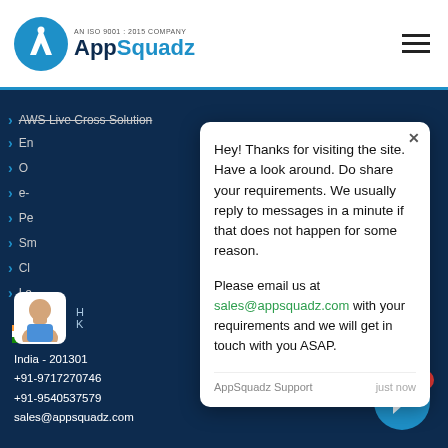[Figure (screenshot): AppSquadz website screenshot showing logo with ISO 9001:2015 certification text, navigation menu hamburger icon, dark blue sidebar with navigation arrows and menu items, and a live chat popup widget.]
Hey! Thanks for visiting the site. Have a look around. Do share your requirements. We usually reply to messages in a minute if that does not happen for some reason.
Please email us at sales@appsquadz.com with your requirements and we will get in touch with you ASAP.
AppSquadz Support   just now
India - 201301
+91-9717270746
+91-9540537579
sales@appsquadz.com